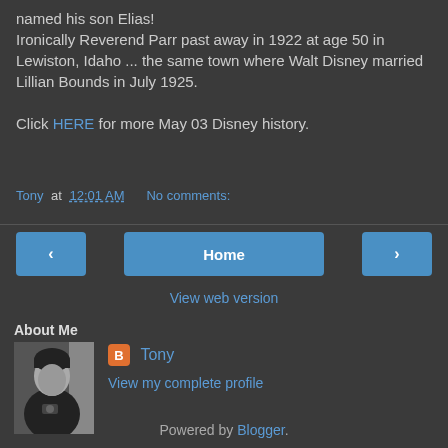named his son Elias! Ironically Reverend Parr past away in 1922 at age 50 in Lewiston, Idaho ... the same town where Walt Disney married Lillian Bounds in July 1925.
Click HERE for more May 03 Disney history.
Tony at 12:01 AM   No comments:
[Figure (other): Navigation buttons: left arrow, Home button, right arrow]
View web version
About Me
[Figure (photo): Black and white profile photo of a person]
Tony
View my complete profile
Powered by Blogger.